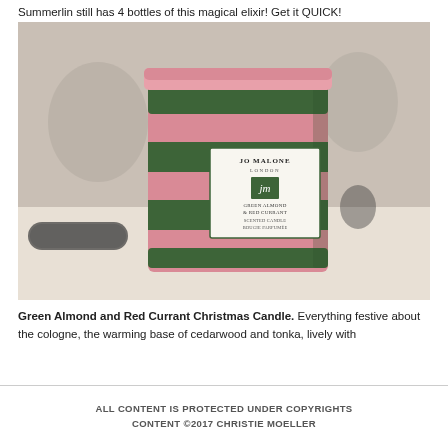Summerlin still has 4 bottles of this magical elixir!  Get it QUICK!
[Figure (photo): Jo Malone London Green Almond & Red Currant scented candle in a pink and dark green striped cylindrical container, placed on a white surface in a blurred indoor setting.]
Green Almond and Red Currant Christmas Candle.  Everything festive about the cologne, the warming base of cedarwood and tonka, lively with
ALL CONTENT IS PROTECTED UNDER COPYRIGHTS CONTENT ©2017 CHRISTIE MOELLER